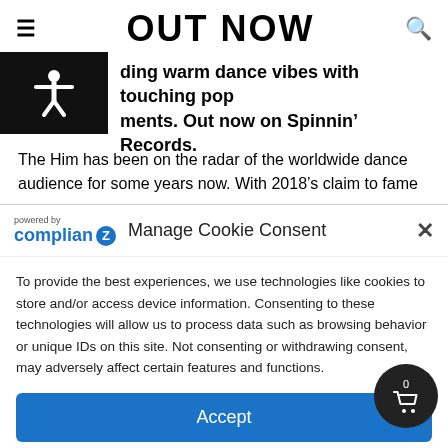OUT NOW
ding warm dance vibes with touching pop ments. Out now on Spinnin’ Records.
The Him has been on the radar of the worldwide dance audience for some years now. With 2018’s claim to fame
Manage Cookie Consent
To provide the best experiences, we use technologies like cookies to store and/or access device information. Consenting to these technologies will allow us to process data such as browsing behavior or unique IDs on this site. Not consenting or withdrawing consent, may adversely affect certain features and functions.
Accept
Cookie Policy   Privacy Statement   Imprint